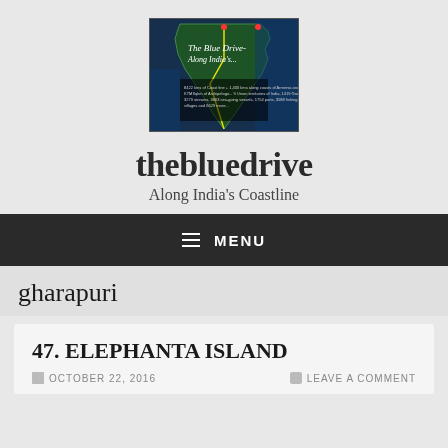[Figure (map): Satellite map image of India's coastline with route markings, showing the Indian subcontinent with text overlay about the blue drive project.]
thebluedrive
Along India's Coastline
≡ MENU
gharapuri
47. ELEPHANTA ISLAND
OCTOBER 22, 2016
LEAVE A COMMENT